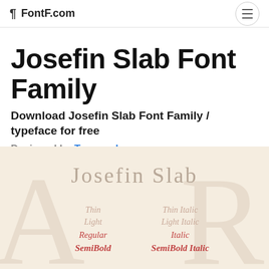FontF.com
Josefin Slab Font Family
Download Josefin Slab Font Family / typeface for free
Designed by Typemade
[Figure (illustration): Font preview showing 'Josefin Slab' in thin weight with large decorative background letters A and R, and a list of font weights: Thin, Light, Regular, SemiBold in left column and Thin Italic, Light Italic, Italic, SemiBold Italic in right column]